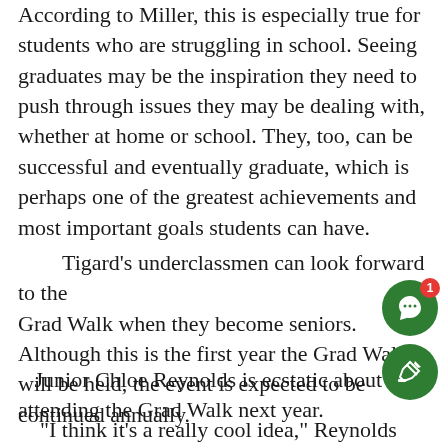According to Miller, this is especially true for students who are struggling in school. Seeing graduates may be the inspiration they need to push through issues they may be dealing with, whether at home or school. They, too, can be successful and eventually graduate, which is perhaps one of the greatest achievements and most important goals students can have.
Tigard's underclassmen can look forward to the Grad Walk when they become seniors. Although this is the first year the Grad Walk will be held, the event is expected to be continued annually.
Junior Chloe Reynolds is ecstatic about attending the Grad Walk next year.
“I think it’s a really cool idea,” Reynolds said. “W haven’t been back to those schools in years. To go back and see the students that they’d once known…”